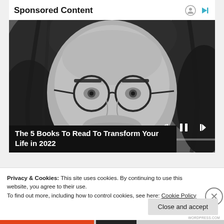Sponsored Content
[Figure (photo): Black and white photo of a young man with long hair and round glasses, looking directly at the camera. Video player controls (skip back, pause, skip forward) are overlaid at bottom right. A progress bar is overlaid near the bottom.]
The 5 Books To Read To Transform Your Life in 2022
Privacy & Cookies: This site uses cookies. By continuing to use this website, you agree to their use.
To find out more, including how to control cookies, see here: Cookie Policy
Close and accept